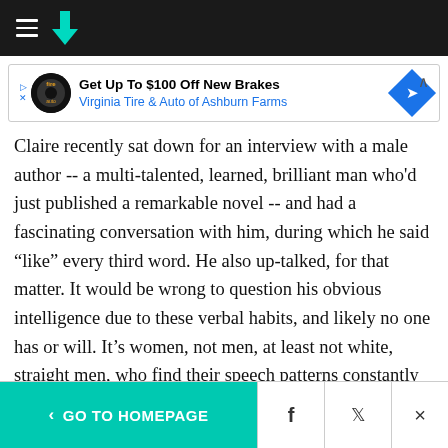HuffPost navigation header
[Figure (other): Advertisement banner: Get Up To $100 Off New Brakes – Virginia Tire & Auto of Ashburn Farms]
Claire recently sat down for an interview with a male author -- a multi-talented, learned, brilliant man who'd just published a remarkable novel -- and had a fascinating conversation with him, during which he said “like” every third word. He also up-talked, for that matter. It would be wrong to question his obvious intelligence due to these verbal habits, and likely no one has or will. It's women, not men, at least not white, straight men, who find their speech patterns constantly
< GO TO HOMEPAGE  [Facebook] [Twitter] [X]